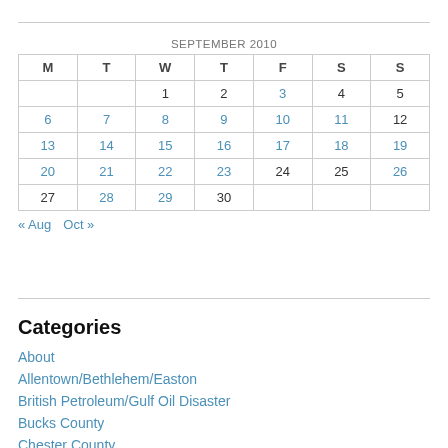| M | T | W | T | F | S | S |
| --- | --- | --- | --- | --- | --- | --- |
|  |  | 1 | 2 | 3 | 4 | 5 |
| 6 | 7 | 8 | 9 | 10 | 11 | 12 |
| 13 | 14 | 15 | 16 | 17 | 18 | 19 |
| 20 | 21 | 22 | 23 | 24 | 25 | 26 |
| 27 | 28 | 29 | 30 |  |  |  |
« Aug   Oct »
Categories
About
Allentown/Bethlehem/Easton
British Petroleum/Gulf Oil Disaster
Bucks County
Chester County